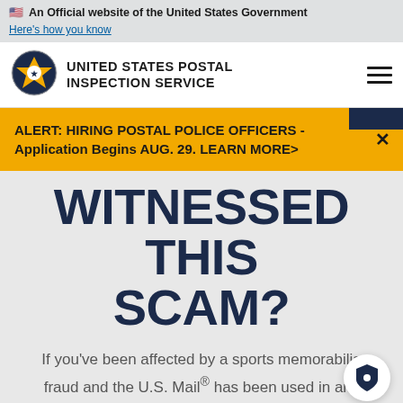🇺🇸 An Official website of the United States Government
Here's how you know
[Figure (logo): United States Postal Inspection Service logo — circular eagle badge with star]
UNITED STATES POSTAL INSPECTION SERVICE
ALERT: HIRING POSTAL POLICE OFFICERS - Application Begins AUG. 29. LEARN MORE>
WITNESSED THIS SCAM?
If you've been affected by a sports memorabilia fraud and the U.S. Mail® has been used in any way, we want to help. Please report the crime.